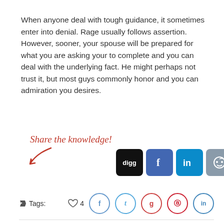When anyone deal with tough guidance, it sometimes enter into denial. Rage usually follows assertion. However, sooner, your spouse will be prepared for what you are asking your to complete and you can deal with the underlying fact. He might perhaps not trust it, but most guys commonly honor and you can admiration you desires.
[Figure (infographic): Share the knowledge! text in red italic with a red curved arrow pointing down-right, followed by social sharing buttons for Digg, Facebook, LinkedIn, Reddit, and a green icon.]
Tags:  ♡4  f  t  g  p  in